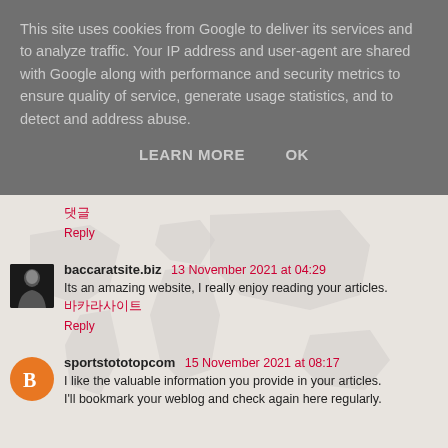This site uses cookies from Google to deliver its services and to analyze traffic. Your IP address and user-agent are shared with Google along with performance and security metrics to ensure quality of service, generate usage statistics, and to detect and address abuse.
LEARN MORE   OK
댓글
Reply
baccaratsite.biz  13 November 2021 at 04:29
Its an amazing website, I really enjoy reading your articles.
바카라사이트
Reply
sportstototopcom  15 November 2021 at 08:17
I like the valuable information you provide in your articles. I'll bookmark your weblog and check again here regularly.